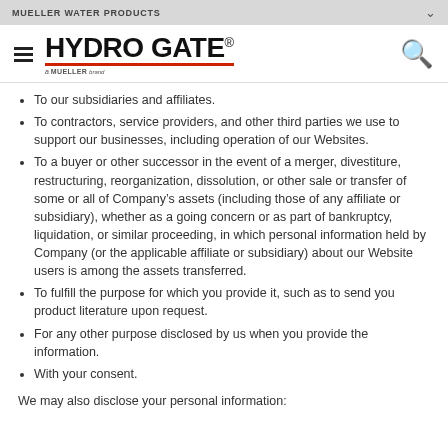MUELLER WATER PRODUCTS
[Figure (logo): Hydro Gate logo — a Mueller brand]
To our subsidiaries and affiliates.
To contractors, service providers, and other third parties we use to support our businesses, including operation of our Websites.
To a buyer or other successor in the event of a merger, divestiture, restructuring, reorganization, dissolution, or other sale or transfer of some or all of Company's assets (including those of any affiliate or subsidiary), whether as a going concern or as part of bankruptcy, liquidation, or similar proceeding, in which personal information held by Company (or the applicable affiliate or subsidiary) about our Website users is among the assets transferred.
To fulfill the purpose for which you provide it, such as to send you product literature upon request.
For any other purpose disclosed by us when you provide the information.
With your consent.
We may also disclose your personal information: